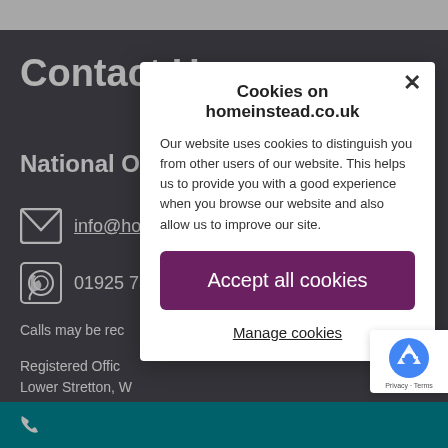Contact Us
National Office
info@homeinstead.co.uk
01925 73...
Calls may be rec...
Registered Offic... Lower Stretton, W...
Registered in En...
Cookies on homeinstead.co.uk
Our website uses cookies to distinguish you from other users of our website. This helps us to provide you with a good experience when you browse our website and also allow us to improve our site.
Accept all cookies
Manage cookies